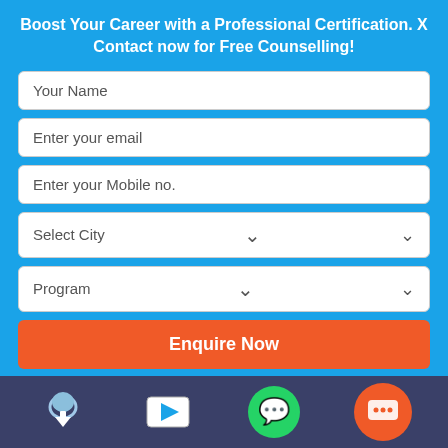Boost Your Career with a Professional Certification. X Contact now for Free Counselling!
Your Name
Enter your email
Enter your Mobile no.
Select City
Program
Enquire Now
MORE BLOGS HERE
Hive Tutorial
[Figure (screenshot): Bottom navigation bar with download icon, video play icon, WhatsApp icon, and orange chat bubble icon on dark blue background]